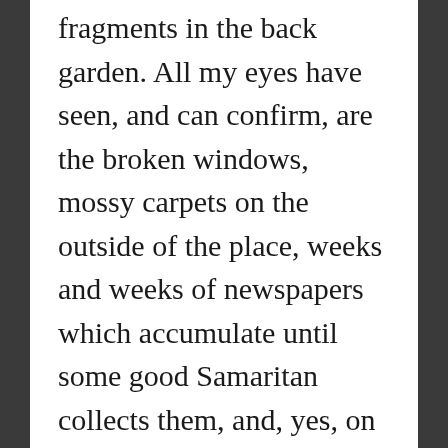the place. Ashes and tiny bone fragments in the back garden. All my eyes have seen, and can confirm, are the broken windows, mossy carpets on the outside of the place, weeks and weeks of newspapers which accumulate until some good Samaritan collects them, and, yes, on a handful of occasions, the specter herself (or so I suppose).
My own imagination is overactive at times, and I am something of a